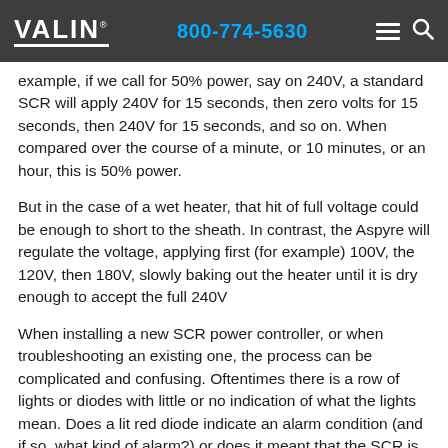VALIN® | 800-774-5630
example, if we call for 50% power, say on 240V, a standard SCR will apply 240V for 15 seconds, then zero volts for 15 seconds, then 240V for 15 seconds, and so on. When compared over the course of a minute, or 10 minutes, or an hour, this is 50% power.
But in the case of a wet heater, that hit of full voltage could be enough to short to the sheath. In contrast, the Aspyre will regulate the voltage, applying first (for example) 100V, the 120V, then 180V, slowly baking out the heater until it is dry enough to accept the full 240V
When installing a new SCR power controller, or when troubleshooting an existing one, the process can be complicated and confusing. Oftentimes there is a row of lights or diodes with little or no indication of what the lights mean. Does a lit red diode indicate an alarm condition (and if so, what kind of alarm?) or does it meant that the SCR is energized and power is